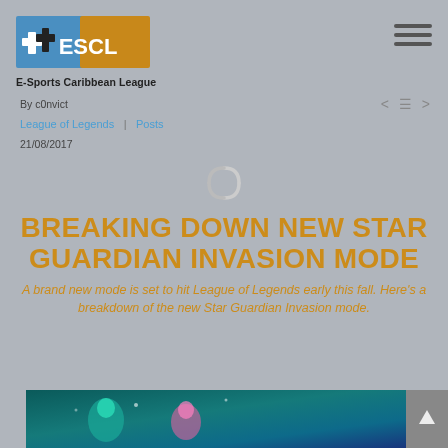[Figure (logo): ESCL E-Sports Caribbean League logo with blue and gold colors and text]
E-Sports Caribbean League
By c0nvict
League of Legends | Posts
21/08/2017
BREAKING DOWN NEW STAR GUARDIAN INVASION MODE
A brand new mode is set to hit League of Legends early this fall. Here's a breakdown of the new Star Guardian Invasion mode.
[Figure (screenshot): League of Legends Star Guardian game screenshot with teal/blue fantasy imagery]